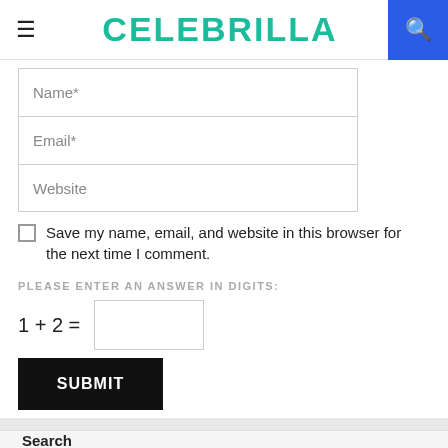CELEBRILLA
[Figure (screenshot): Website comment form with Name, Email, Website input fields, a checkbox for saving info, a CAPTCHA math question (1 + 2 =), and a SUBMIT button]
Search